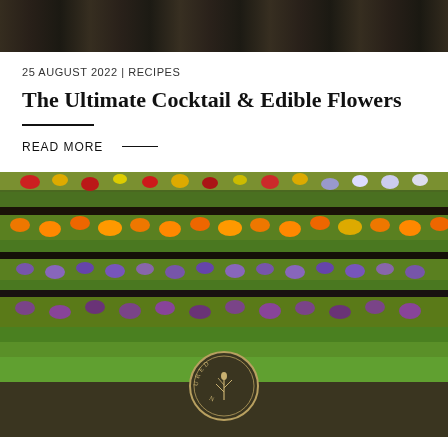[Figure (photo): Dark banner image at the top of the page, appears to be a food or nature photograph with dark tones]
25 AUGUST 2022 | RECIPES
The Ultimate Cocktail & Edible Flowers
READ MORE —
[Figure (photo): Overhead view of colorful flower fields with rows of orange, yellow, red, purple, and green flowers growing in horizontal bands]
[Figure (logo): Circular logo with text 'NURTURED IN' and decorative plant/wheat illustration, gold color on dark background]